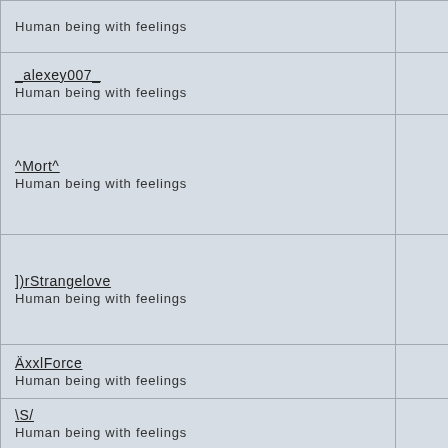| User | Count |
| --- | --- |
| Human being with feelings | 1 |
| _alexey007_
Human being with feelings | 0 |
| ^Mort^
Human being with feelings | 1 |
| ])rStrangelove
Human being with feelings | 0 |
| ÄxxlForce
Human being with feelings | 45 |
| \S/
Human being with feelings | 0 |
| \Punkfunkblue |  |